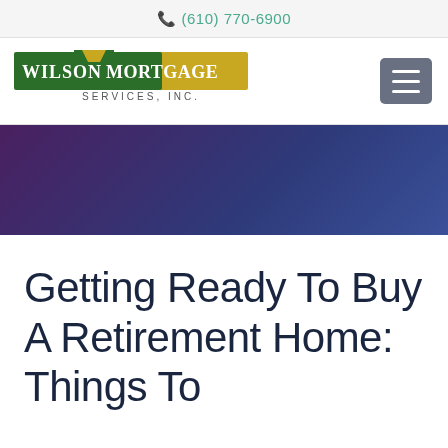(610) 770-6900
[Figure (logo): Wilson Mortgage Services, Inc. logo — green and gold house graphic with company name]
Getting Ready To Buy A Retirement Home: Things To